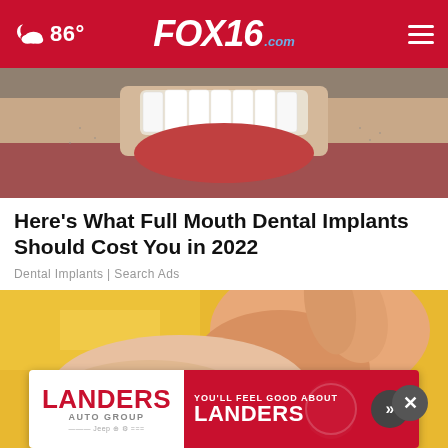FOX16.com — 86°
[Figure (photo): Close-up photo of a man's smile showing white teeth, with stubble on the chin and lower face visible]
Here's What Full Mouth Dental Implants Should Cost You in 2022
Dental Implants | Search Ads
[Figure (photo): Close-up photo of a hand holding or touching a foot/ankle area against a yellow background, suggesting a medical or pain-related context]
[Figure (other): Landers Auto Group advertisement banner: left side white with LANDERS AUTO GROUP logo and Jeep brand logos; right side red with text YOU'LL FEEL GOOD ABOUT LANDERS and a dark circular arrow button]